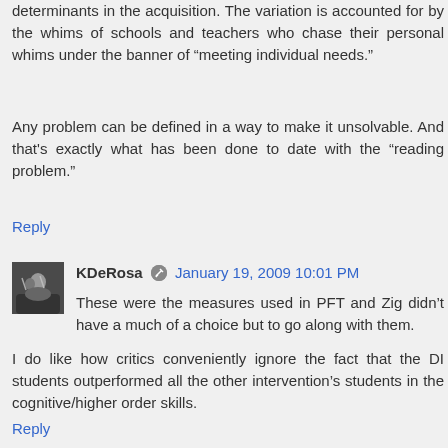determinants in the acquisition. The variation is accounted for by the whims of schools and teachers who chase their personal whims under the banner of “meeting individual needs.”
Any problem can be defined in a way to make it unsolvable. And that's exactly what has been done to date with the “reading problem.”
Reply
KDeRosa  January 19, 2009 10:01 PM
These were the measures used in PFT and Zig didn’t have a much of a choice but to go along with them.
I do like how critics conveniently ignore the fact that the DI students outperformed all the other intervention’s students in the cognitive/higher order skills.
Reply